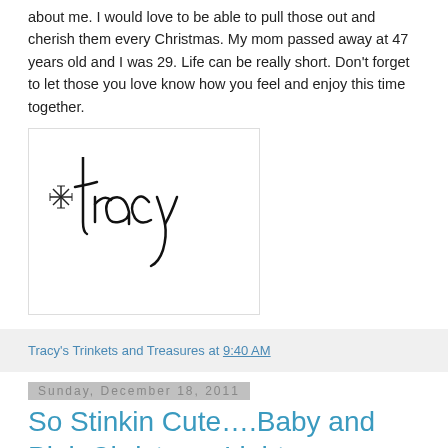about me. I would love to be able to pull those out and cherish them every Christmas. My mom passed away at 47 years old and I was 29. Life can be really short. Don't forget to let those you love know how you feel and enjoy this time together.
[Figure (illustration): Handwritten signature reading 'tracy' in stylized script with a decorative snowflake asterisk before the text, inside a bordered white box]
Tracy's Trinkets and Treasures at 9:40 AM
Sunday, December 18, 2011
So Stinkin Cute….Baby and Pink Christmas Lights
I took some more photos for friends today and they wanted kid pics with Christmas lights. The baby's mom brought